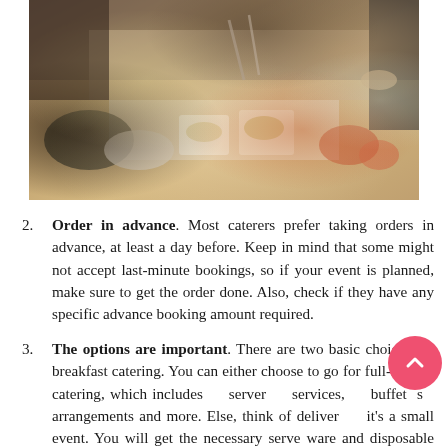[Figure (photo): A catering buffet scene with people serving food at a table filled with various dishes in white serving bowls and platters, with serving utensils and a person with a tattooed arm visible on the right.]
2. Order in advance. Most caterers prefer taking orders in advance, at least a day before. Keep in mind that some might not accept last-minute bookings, so if your event is planned, make sure to get the order done. Also, check if they have any specific advance booking amount required.
3. The options are important. There are two basic choices for breakfast catering. You can either choose to go for full-service catering, which includes server services, buffet set arrangements and more. Else, think of delivery if it's a small event. You will get the necessary serve ware and disposable plates, spoons, and knives as